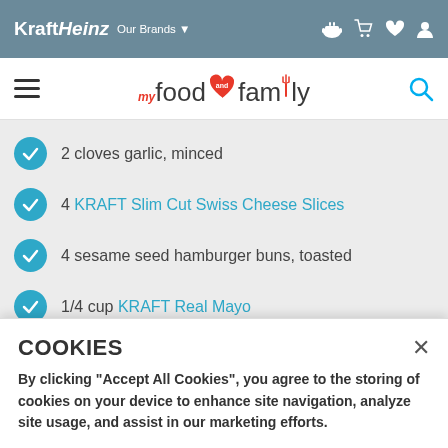Kraft Heinz Our Brands
my food and family
2 cloves garlic, minced
4 KRAFT Slim Cut Swiss Cheese Slices
4 sesame seed hamburger buns, toasted
1/4 cup KRAFT Real Mayo
4 lettuce leaves
COOKIES
By clicking "Accept All Cookies", you agree to the storing of cookies on your device to enhance site navigation, analyze site usage, and assist in our marketing efforts.